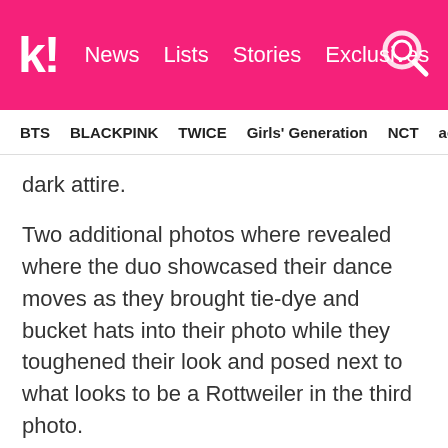k! News  Lists  Stories  Exclusives
BTS  BLACKPINK  TWICE  Girls' Generation  NCT  aespa
dark attire.
Two additional photos where revealed where the duo showcased their dance moves as they brought tie-dye and bucket hats into their photo while they toughened their look and posed next to what looks to be a Rottweiler in the third photo.
Meanwhile, after 11 years, Jinusean made a comeback with the track “Tell Me One More Time” featuring Jang Hana. The track brought fans back to memory lane as the song is a classic old school hip-hop track.